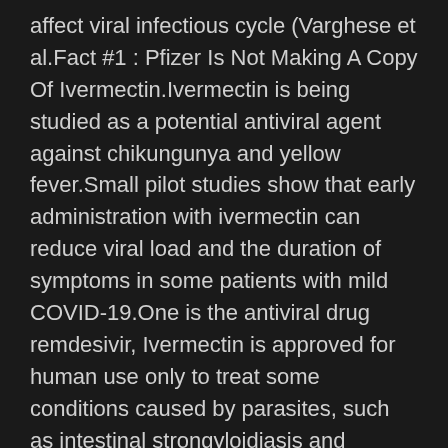affect viral infectious cycle (Varghese et al.Fact #1 : Pfizer Is Not Making A Copy Of Ivermectin.Ivermectin is being studied as a potential antiviral agent against chikungunya and yellow fever.Small pilot studies show that early administration with ivermectin can reduce viral load and the duration of symptoms in some patients with mild COVID-19.One is the antiviral drug remdesivir, Ivermectin is approved for human use only to treat some conditions caused by parasites, such as intestinal strongyloidiasis and onchocerciasis, head lice.In May 2020, Australian researchers published a little-known study in the journal Antiviral Research that presents ivermectin, an FDA-approved drug for humans, as a “broad spectrum antiviral of interest.The particular Bangladesh Medical and Research Council (BMRC) has approved conducting a medical trial of a combination of anti-parasitic medication ivermectin and antibiotic doxycycline to deal with Covid-19